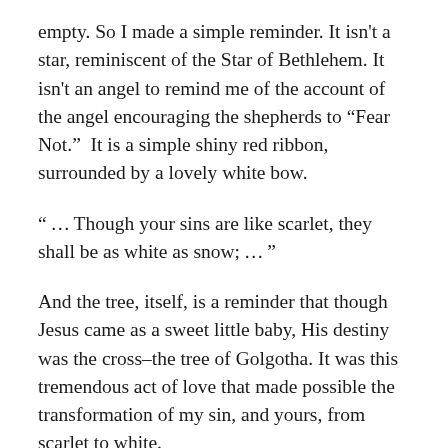empty. So I made a simple reminder. It isn't a star, reminiscent of the Star of Bethlehem. It isn't an angel to remind me of the account of the angel encouraging the shepherds to “Fear Not.”  It is a simple shiny red ribbon, surrounded by a lovely white bow.
“ … Though your sins are like scarlet, they shall be as white as snow; … ”
And the tree, itself, is a reminder that though Jesus came as a sweet little baby, His destiny was the cross–the tree of Golgotha. It was this tremendous act of love that made possible the transformation of my sin, and yours, from scarlet to white.
Bud and I send Christmas greetings to one and all and